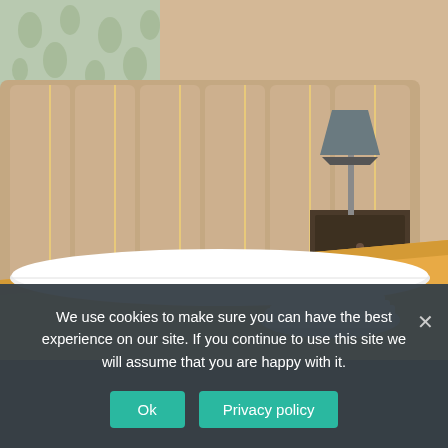[Figure (photo): Hotel bedroom with a large bed featuring a golden/yellow bedspread and white pillows, padded headboard in beige/tan color with vertical stripes, folded white towels at the foot of the bed, a grey armchair in the right corner, a nightstand with a grey table lamp, and a patterned wallpaper in the background.]
We use cookies to make sure you can have the best experience on our site. If you continue to use this site we will assume that you are happy with it.